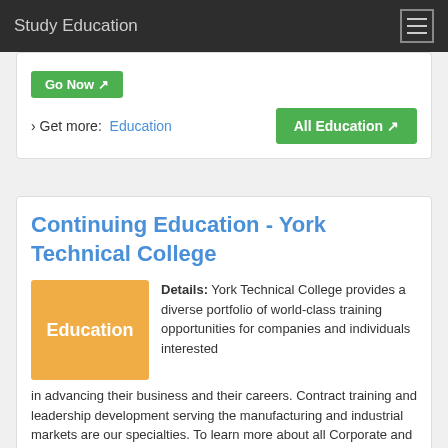Study Education
Go Now
› Get more:  Education    All Education
Continuing Education - York Technical College
[Figure (illustration): Orange badge with white text reading 'Education']
Details: York Technical College provides a diverse portfolio of world-class training opportunities for companies and individuals interested in advancing their business and their careers. Contract training and leadership development serving the manufacturing and industrial markets are our specialties. To learn more about all Corporate and Continuing
› Verified  3 days ago